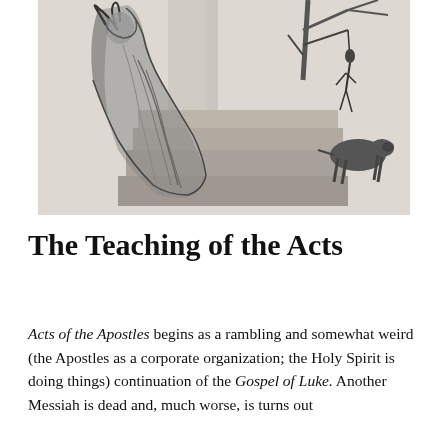[Figure (illustration): A charcoal or pencil sketch illustration showing a distressed figure hunched over on steps near a column, with a person hanging from a tree and a horse in the background. The style is dramatic and dark.]
The Teaching of the Acts
Acts of the Apostles begins as a rambling and somewhat weird (the Apostles as a corporate organization; the Holy Spirit is doing things) continuation of the Gospel of Luke. Another Messiah is dead and, much worse, is turns out